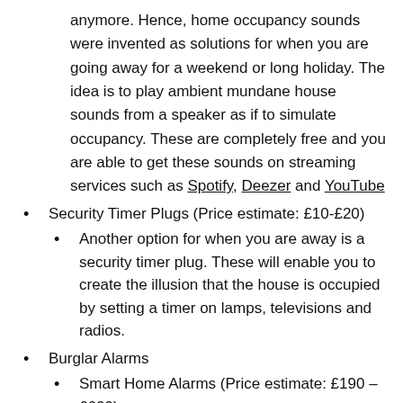anymore. Hence, home occupancy sounds were invented as solutions for when you are going away for a weekend or long holiday. The idea is to play ambient mundane house sounds from a speaker as if to simulate occupancy. These are completely free and you are able to get these sounds on streaming services such as Spotify, Deezer and YouTube
Security Timer Plugs (Price estimate: £10-£20)
Another option for when you are away is a security timer plug. These will enable you to create the illusion that the house is occupied by setting a timer on lamps, televisions and radios.
Burglar Alarms
Smart Home Alarms (Price estimate: £190 – £600)
Described as the future of burglar alarms, smart home security has received a vast amount of